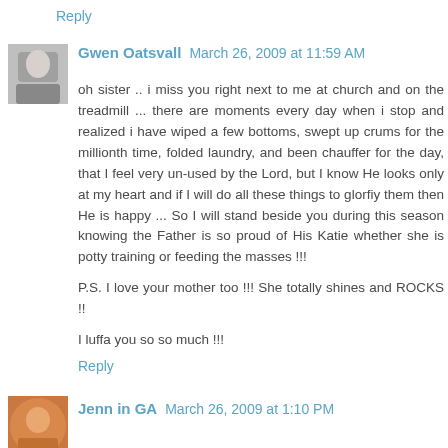Reply
Gwen Oatsvall   March 26, 2009 at 11:59 AM
oh sister .. i miss you right next to me at church and on the treadmill ... there are moments every day when i stop and realized i have wiped a few bottoms, swept up crums for the millionth time, folded laundry, and been chauffer for the day, that I feel very un-used by the Lord, but I know He looks only at my heart and if I will do all these things to glorfiy them then He is happy ... So I will stand beside you during this season knowing the Father is so proud of His Katie whether she is potty training or feeding the masses !!!
P.S. I love your mother too !!! She totally shines and ROCKS !!
I luffa you so so much !!!
Reply
Jenn in GA   March 26, 2009 at 1:10 PM